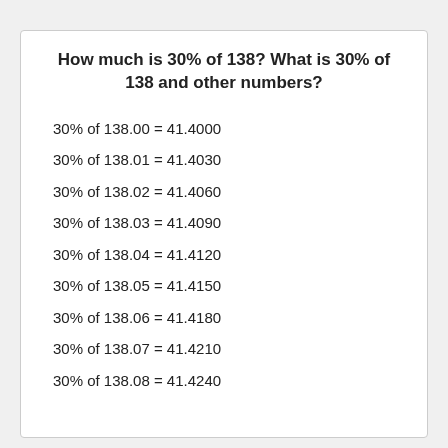How much is 30% of 138? What is 30% of 138 and other numbers?
30% of 138.00 = 41.4000
30% of 138.01 = 41.4030
30% of 138.02 = 41.4060
30% of 138.03 = 41.4090
30% of 138.04 = 41.4120
30% of 138.05 = 41.4150
30% of 138.06 = 41.4180
30% of 138.07 = 41.4210
30% of 138.08 = 41.4240